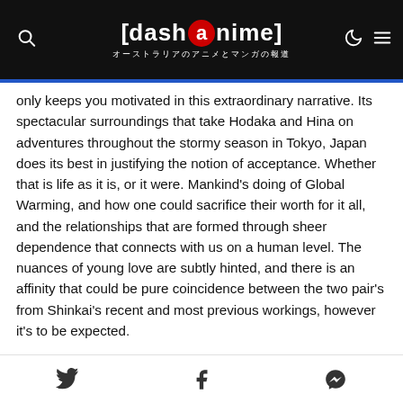[dashanime] オーストラリアのアニメとマンガの報道
only keeps you motivated in this extraordinary narrative. Its spectacular surroundings that take Hodaka and Hina on adventures throughout the stormy season in Tokyo, Japan does its best in justifying the notion of acceptance. Whether that is life as it is, or it were. Mankind's doing of Global Warming, and how one could sacrifice their worth for it all, and the relationships that are formed through sheer dependence that connects with us on a human level. The nuances of young love are subtly hinted, and there is an affinity that could be pure coincidence between the two pair's from Shinkai's recent and most previous workings, however it's to be expected.
None the less, Weathering With You solidifies itself as another checkmark on the expanding library of esteemed
Twitter  Facebook  Messenger